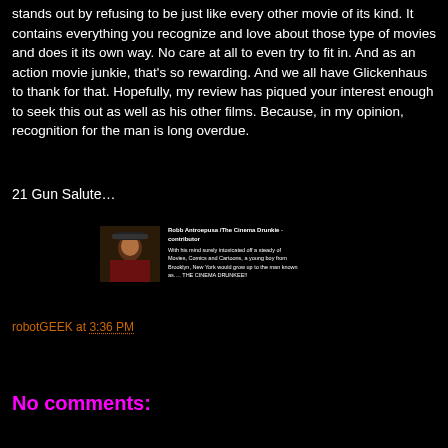stands out by refusing to be just like every other movie of its kind. It contains everything you recognize and love about those type of movies and does it its own way. No care at all to even try to fit in. And as an action movie junkie, that's so rewarding. And we all have Glickenhaus to thank for that. Hopefully, my review has piqued your interest enough to seek this out as well as his other films. Because, in my opinion, recognition for the man is long overdue.
21 Gun Salute…
[Figure (photo): Author photo thumbnail with name 'Robb Antroepusa /The Cinema Drunkie - contributor' and bio text about being intoxicated off movies, comics and cartoons from Brooklyn, New York, known as THE CINEMA DRUNKEE!]
robotGEEK at 3:36 PM
Share
No comments: